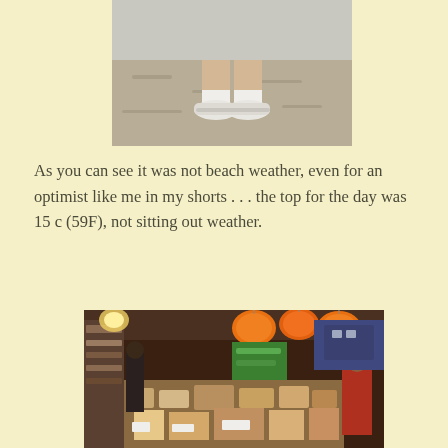[Figure (photo): Photo of a person from the waist down wearing dark shorts and white sneakers, standing on dry grass or gravel.]
As you can see it was not beach weather, even for an optimist like me in my shorts . . . the top for the day was 15 c (59F), not sitting out weather.
[Figure (photo): Indoor market or shop scene with lanterns hanging from the ceiling, shelves of goods, food items displayed on counters, and people browsing.]